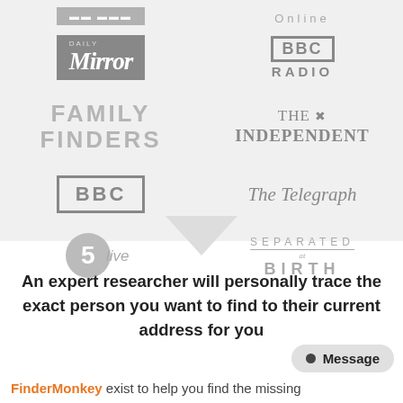[Figure (logo): Grid of media brand logos: Daily Mirror, BBC Radio, Family Finders, The Independent, BBC, The Telegraph, 5 live, Separated at Birth]
An expert researcher will personally trace the exact person you want to find to their current address for you
FinderMonkey exist to help you find the missing